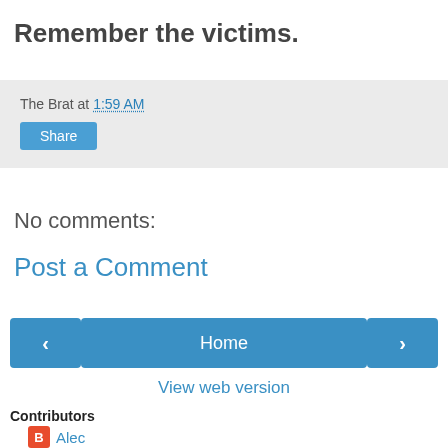Remember the victims.
The Brat at 1:59 AM
Share
No comments:
Post a Comment
< Home >
View web version
Contributors
Alec
The Brat